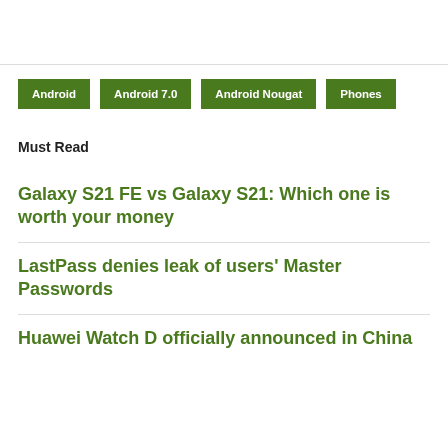Android
Android 7.0
Android Nougat
Phones
Must Read
Galaxy S21 FE vs Galaxy S21: Which one is worth your money
LastPass denies leak of users' Master Passwords
Huawei Watch D officially announced in China